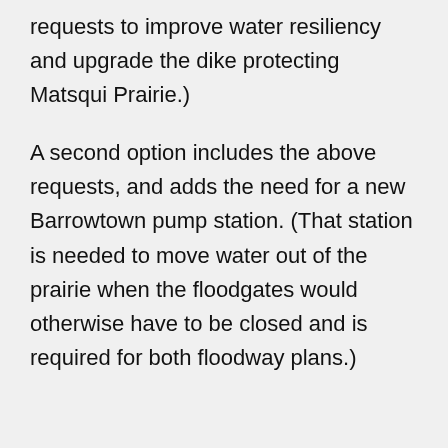requests to improve water resiliency and upgrade the dike protecting Matsqui Prairie.)
A second option includes the above requests, and adds the need for a new Barrowtown pump station. (That station is needed to move water out of the prairie when the floodgates would otherwise have to be closed and is required for both floodway plans.)